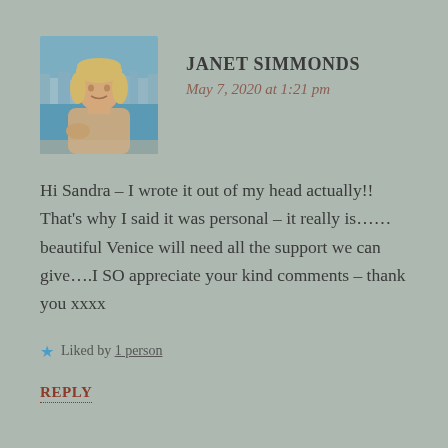[Figure (photo): Avatar photo of Janet Simmonds — a woman with blonde hair sitting outdoors near water with a cityscape in the background]
JANET SIMMONDS
May 7, 2020 at 1:21 pm
Hi Sandra – I wrote it out of my head actually!! That's why I said it was personal – it really is……beautiful Venice will need all the support we can give….I SO appreciate your kind comments – thank you xxxx
★ Liked by 1 person
REPLY